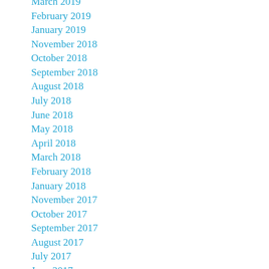March 2019
February 2019
January 2019
November 2018
October 2018
September 2018
August 2018
July 2018
June 2018
May 2018
April 2018
March 2018
February 2018
January 2018
November 2017
October 2017
September 2017
August 2017
July 2017
June 2017
May 2017
April 2017
March 2017
February 2017